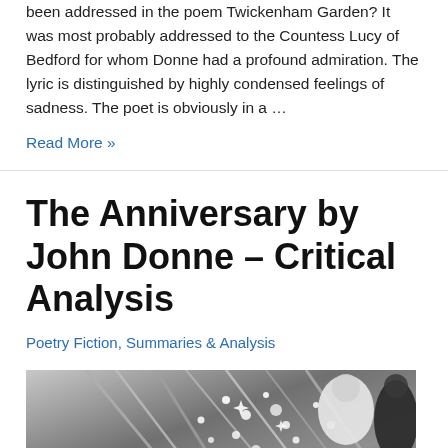been addressed in the poem Twickenham Garden? It was most probably addressed to the Countess Lucy of Bedford for whom Donne had a profound admiration. The lyric is distinguished by highly condensed feelings of sadness. The poet is obviously in a …
Read More »
The Anniversary by John Donne – Critical Analysis
Poetry Fiction, Summaries & Analysis
[Figure (photo): Black and white photograph showing a person in a white shirt among elaborate mechanical or decorative structures with sparkling lights or bubbles, with a crowd visible in the background.]